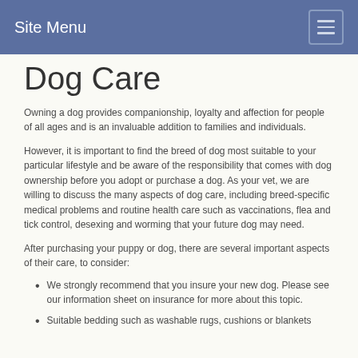Site Menu
Dog Care
Owning a dog provides companionship, loyalty and affection for people of all ages and is an invaluable addition to families and individuals.
However, it is important to find the breed of dog most suitable to your particular lifestyle and be aware of the responsibility that comes with dog ownership before you adopt or purchase a dog. As your vet, we are willing to discuss the many aspects of dog care, including breed-specific medical problems and routine health care such as vaccinations, flea and tick control, desexing and worming that your future dog may need.
After purchasing your puppy or dog, there are several important aspects of their care, to consider:
We strongly recommend that you insure your new dog. Please see our information sheet on insurance for more about this topic.
Suitable bedding such as washable rugs, cushions or blankets